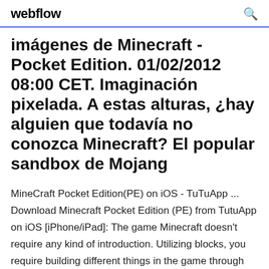webflow
imágenes de Minecraft - Pocket Edition. 01/02/2012 08:00 CET. Imaginación pixelada. A estas alturas, ¿hay alguien que todavía no conozca Minecraft? El popular sandbox de Mojang
MineCraft Pocket Edition(PE) on iOS - TuTuApp ... Download Minecraft Pocket Edition (PE) from TutuApp on iOS [iPhone/iPad]: The game Minecraft doesn't require any kind of introduction. Utilizing blocks, you require building different things in the game through which you have to ensure your survival. You